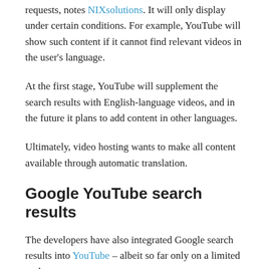requests, notes NIXsolutions. It will only display under certain conditions. For example, YouTube will show such content if it cannot find relevant videos in the user's language.
At the first stage, YouTube will supplement the search results with English-language videos, and in the future it plans to add content in other languages.
Ultimately, video hosting wants to make all content available through automatic translation.
Google YouTube search results
The developers have also integrated Google search results into YouTube – albeit so far only on a limited scale.
YouTube is experimenting with displaying search results from Google when there is not enough video content on the platform to